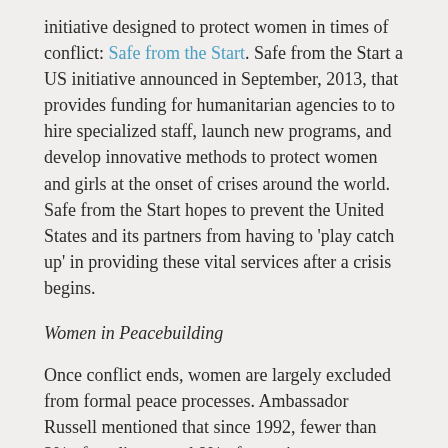initiative designed to protect women in times of conflict: Safe from the Start. Safe from the Start a US initiative announced in September, 2013, that provides funding for humanitarian agencies to to hire specialized staff, launch new programs, and develop innovative methods to protect women and girls at the onset of crises around the world. Safe from the Start hopes to prevent the United States and its partners from having to 'play catch up' in providing these vital services after a crisis begins.
Women in Peacebuilding
Once conflict ends, women are largely excluded from formal peace processes. Ambassador Russell mentioned that since 1992, fewer than 3% of mediators and 8% of negotiators were women. When women are excluded, important issues that women care most about — but affect all of society — such as family, education, food security, and violence against women, tend to get ignored. Ambassador Russell described how the US government recognized this dynamic prior to the Geneva II talks, and provided training for women's civil society groups attending the talks. This